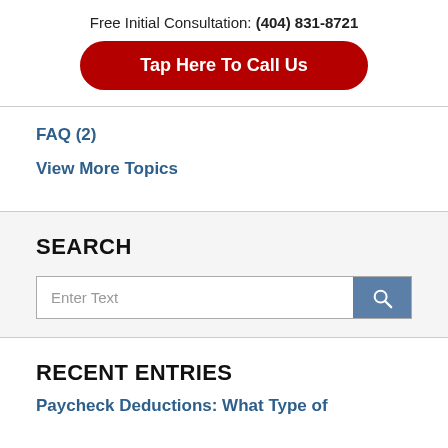Free Initial Consultation: (404) 831-8721
Tap Here To Call Us
FAQ (2)
View More Topics
SEARCH
Enter Text
RECENT ENTRIES
Paycheck Deductions: What Type of